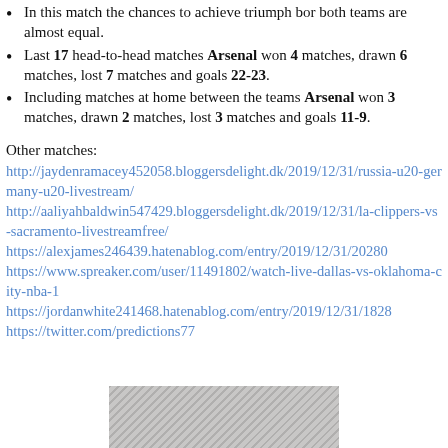In this match the chances to achieve triumph bor both teams are almost equal.
Last 17 head-to-head matches Arsenal won 4 matches, drawn 6 matches, lost 7 matches and goals 22-23.
Including matches at home between the teams Arsenal won 3 matches, drawn 2 matches, lost 3 matches and goals 11-9.
Other matches:
http://jaydenramacey452058.bloggersdelight.dk/2019/12/31/russia-u20-germany-u20-livestream/
http://aaliyahbaldwin547429.bloggersdelight.dk/2019/12/31/la-clippers-vs-sacramento-livestreamfree/
https://alexjames246439.hatenablog.com/entry/2019/12/31/20280
https://www.spreaker.com/user/11491802/watch-live-dallas-vs-oklahoma-city-nba-1
https://jordanwhite241468.hatenablog.com/entry/2019/12/31/1828
https://twitter.com/predictions77
[Figure (photo): Grayscale photo partially visible at the bottom of the page]